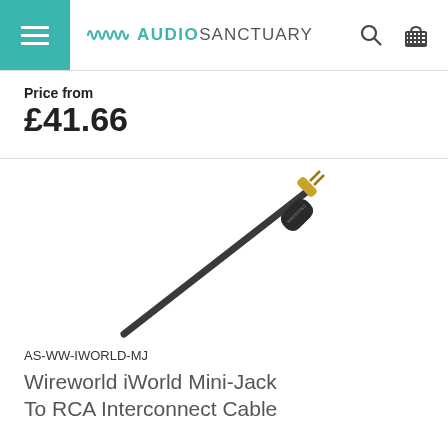Audio Sanctuary
Price from £41.66
[Figure (photo): A mini-jack (3.5mm) audio cable with gold-plated connector tip and black Wireworld connector body, showing the cable extending diagonally.]
AS-WW-IWORLD-MJ
Wireworld iWorld Mini-Jack To RCA Interconnect Cable